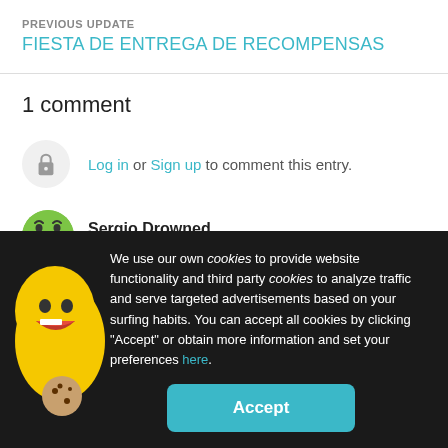PREVIOUS UPDATE
FIESTA DE ENTREGA DE RECOMPENSAS
1 comment
Log in or Sign up to comment this entry.
Sergio Drowned
ALMOST 6 YEARS
We use our own cookies to provide website functionality and third party cookies to analyze traffic and serve targeted advertisements based on your surfing habits. You can accept all cookies by clicking “Accept” or obtain more information and set your preferences here.
Accept